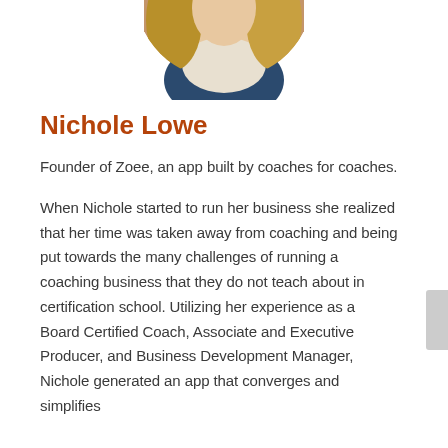[Figure (photo): Circular cropped portrait photo of Nichole Lowe, a woman with long hair, wearing a white/cream top, partially visible at top of page]
Nichole Lowe
Founder of Zoee, an app built by coaches for coaches.
When Nichole started to run her business she realized that her time was taken away from coaching and being put towards the many challenges of running a coaching business that they do not teach about in certification school. Utilizing her experience as a Board Certified Coach, Associate and Executive Producer, and Business Development Manager, Nichole generated an app that converges and simplifies